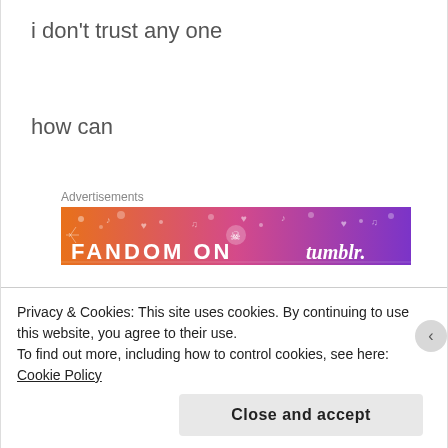i don't trust any one
how can
[Figure (other): Tumblr Fandom On advertisement banner with orange to purple gradient and decorative music/heart icons]
i be
only
Privacy & Cookies: This site uses cookies. By continuing to use this website, you agree to their use.
To find out more, including how to control cookies, see here: Cookie Policy
Close and accept